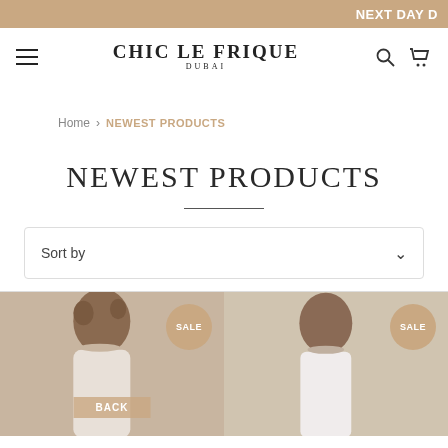NEXT DAY D
[Figure (logo): Chic Le Frique Dubai brand logo with hamburger menu, search and cart icons]
Home > NEWEST PRODUCTS
NEWEST PRODUCTS
Sort by
[Figure (photo): Two female models in product photos with SALE badges. Left card shows BACK badge.]